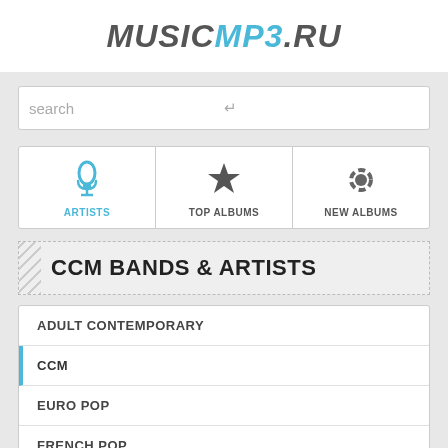[Figure (logo): MUSICMP3.RU logo in italic bold text, MUSIC in dark gray, MP3 in light blue, .RU in dark gray]
search
[Figure (infographic): Navigation tabs with three sections: ARTISTS (microphone icon, blue), TOP ALBUMS (star icon), NEW ALBUMS (flower/asterisk icon)]
CCM BANDS & ARTISTS
ADULT CONTEMPORARY
CCM
EURO POP
FRENCH POP